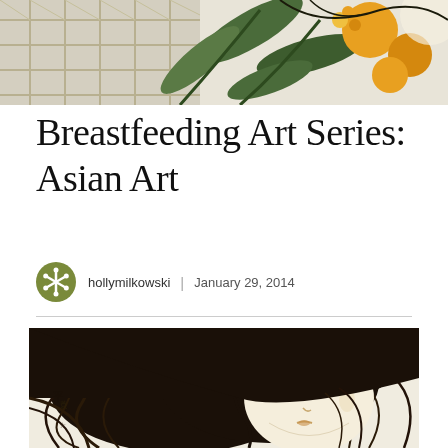[Figure (photo): Top decorative cropped image showing Japanese woodblock art with green leaves, plaid pattern, and orange/yellow floral elements on light background]
Breastfeeding Art Series: Asian Art
hollymilkowski | January 29, 2014
[Figure (photo): Japanese woodblock print showing a woman with long wild black hair looking downward, with Japanese calligraphy characters on the left side. Black and white with subtle color accents.]